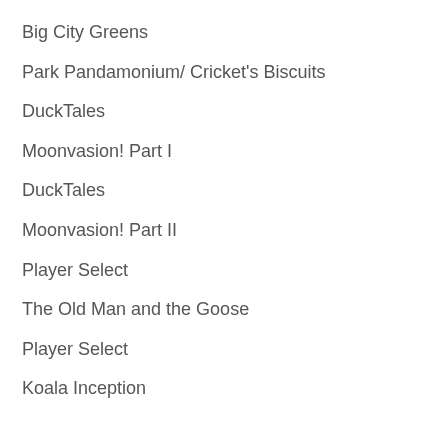Big City Greens
Park Pandamonium/ Cricket's Biscuits
DuckTales
Moonvasion! Part I
DuckTales
Moonvasion! Part II
Player Select
The Old Man and the Goose
Player Select
Koala Inception